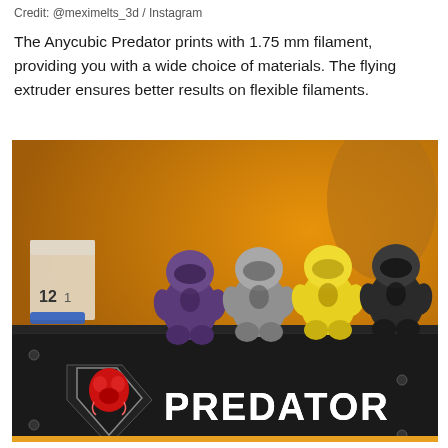Credit: @meximelts_3d / Instagram
The Anycubic Predator prints with 1.75 mm filament, providing you with a wide choice of materials. The flying extruder ensures better results on flexible filaments.
[Figure (photo): Photo of four small 3D-printed stormtrooper-style figurines in purple, silver, yellow, and black placed on top of an Anycubic Predator 3D printer. The printer has a diamond-shaped logo with a predator face and the word PREDATOR in large letters on its black casing. Background is orange/amber.]